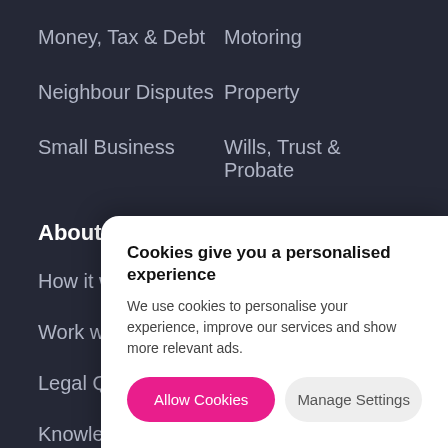Money, Tax & Debt
Motoring
Neighbour Disputes
Property
Small Business
Wills, Trust & Probate
About
How it works
Work with us
Legal Q&A
Knowledge Hub
Knowle…
Tools
Privacy…
[Figure (screenshot): Cookie consent overlay popup with title 'Cookies give you a personalised experience', body text about cookies, and two buttons: 'Allow Cookies' (pink) and 'Manage Settings' (grey)]